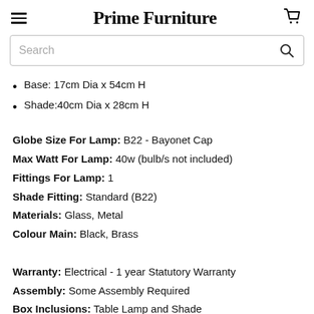Prime Furniture
Base: 17cm Dia x 54cm H
Shade:40cm Dia x 28cm H
Globe Size For Lamp: B22 - Bayonet Cap
Max Watt For Lamp: 40w (bulb/s not included)
Fittings For Lamp: 1
Shade Fitting: Standard (B22)
Materials: Glass, Metal
Colour Main: Black, Brass
Warranty: Electrical - 1 year Statutory Warranty
Assembly: Some Assembly Required
Box Inclusions: Table Lamp and Shade